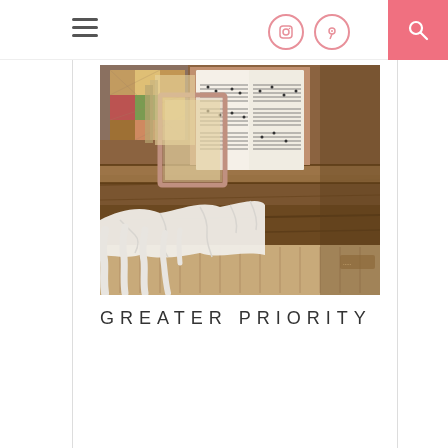Navigation header with hamburger menu, Instagram icon, Pinterest icon, and search button
[Figure (photo): A vintage upright piano with sheet music on the music stand, a quilted pillow with colorful patches in the background, and white fabric/gloves draped over the piano keys area. Warm brown wood tones throughout.]
GREATER PRIORITY